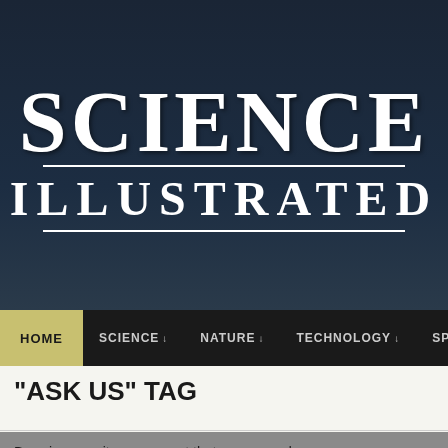[Figure (logo): Science Illustrated magazine logo with large serif white SCIENCE text on dark navy background, horizontal rules, and ILLUSTRATED subtitle]
HOME   SCIENCE ↓   NATURE ↓   TECHNOLOGY ↓   SPACE ↓
"ASK US" TAG
By using our site you accept that we use and share cookies and similar technologies to perform analytics and provide content and ads tailored to your interests. By continuing to use our site, you consent to this. Please see our Cookie Policy for more information.